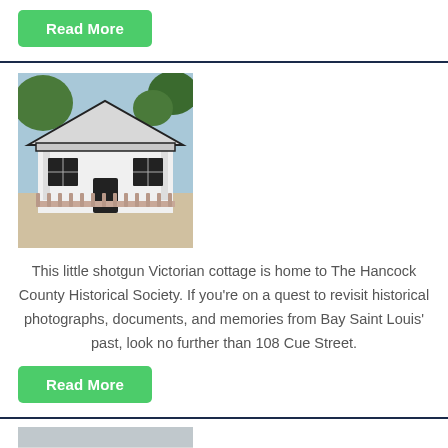Read More
[Figure (photo): A small white shotgun Victorian cottage with a dark trim, covered porch, and a wooden picket fence in front, with trees in background.]
This little shotgun Victorian cottage is home to The Hancock County Historical Society. If you're on a quest to revisit historical photographs, documents, and memories from Bay Saint Louis' past, look no further than 108 Cue Street.
Read More
[Figure (photo): Partial view of another photo, appears to be a building or outdoor scene, mostly cropped.]